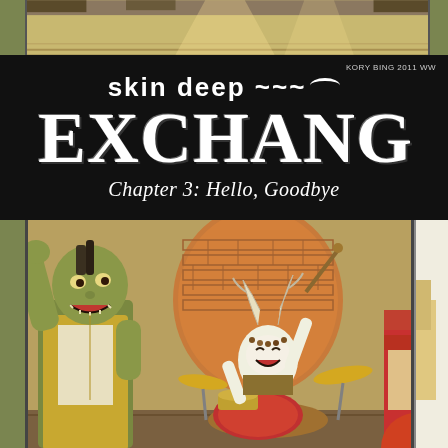[Figure (illustration): Top panel showing a dimly lit bar or stage scene with brick wall and wooden floor, partial view]
skin deep EXCHANGE Chapter 3: Hello, Goodbye
[Figure (illustration): Comic illustration of a band playing: a large green troll-like creature on the left with arm raised, a small horned/antlered creature playing drums in the center, drum kit with cymbals visible, brick archway background, partial figure on far right. Art by Kory Bing 2011.]